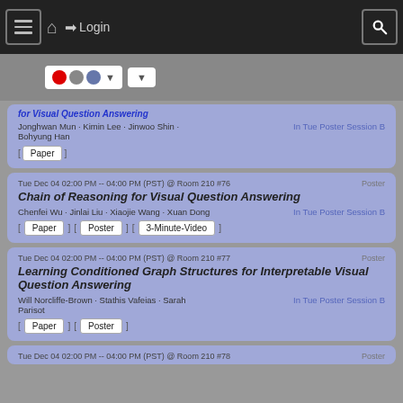[Figure (screenshot): Navigation bar with hamburger menu, home icon, login button, and search icon on dark background]
[Figure (screenshot): Toolbar with Flickr-style colored dots dropdown and a select dropdown on grey background]
Learning to Specialize with Knowledge Distillation for Visual Question Answering
Jonghwan Mun · Kimin Lee · Jinwoo Shin · Bohyung Han
In Tue Poster Session B
[ Paper ]
Tue Dec 04 02:00 PM -- 04:00 PM (PST) @ Room 210 #76   Poster
Chain of Reasoning for Visual Question Answering
Chenfei Wu · Jinlai Liu · Xiaojie Wang · Xuan Dong   In Tue Poster Session B
[ Paper ]  [ Poster ]  [ 3-Minute-Video ]
Tue Dec 04 02:00 PM -- 04:00 PM (PST) @ Room 210 #77   Poster
Learning Conditioned Graph Structures for Interpretable Visual Question Answering
Will Norcliffe-Brown · Stathis Vafeias · Sarah Parisot   In Tue Poster Session B
[ Paper ]  [ Poster ]
Tue Dec 04 02:00 PM -- 04:00 PM (PST) @ Room 210 #78   Poster